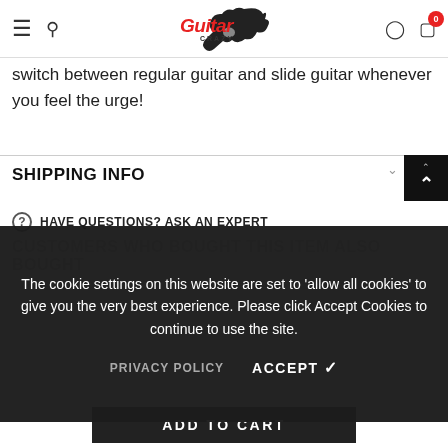Guitar Crazy — navigation header with hamburger menu, search, logo, user icon, cart (0)
switch between regular guitar and slide guitar whenever you feel the urge!
SHIPPING INFO
HAVE QUESTIONS? ASK AN EXPERT
CUSTOMERS WHO BOUGHT THIS ITEM ALSO BOUGHT
The cookie settings on this website are set to 'allow all cookies' to give you the very best experience. Please click Accept Cookies to continue to use the site.
PRIVACY POLICY   ACCEPT ✔
ADD TO CART